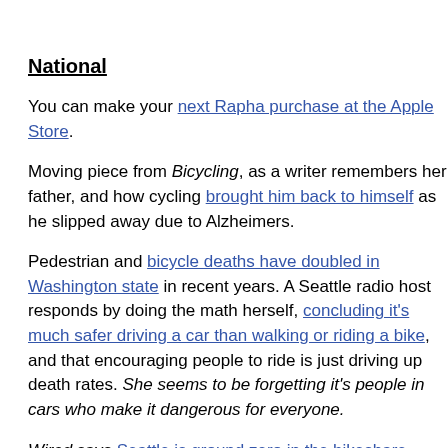National
You can make your next Rapha purchase at the Apple Store.
Moving piece from Bicycling, as a writer remembers her father, and how cycling brought him back to himself as he slipped away due to Alzheimers.
Pedestrian and bicycle deaths have doubled in Washington state in recent years. A Seattle radio host responds by doing the math herself, concluding it's much safer driving a car than walking or riding a bike, and that encouraging people to ride is just driving up death rates. She seems to be forgetting it's people in cars who make it dangerous for everyone.
Wired says Seattle is ground zero in the bikeshare wars, as several bikeshare firms have moved into the void created when the city's traditional bikeshare went belly up.
A Philly magazine takes a test ride on the city's new parking-protected bike lanes, and offers advice to drivers on how to not park in them.
Streetsblog says no, a bike lane didn't do in a New York deli, despite